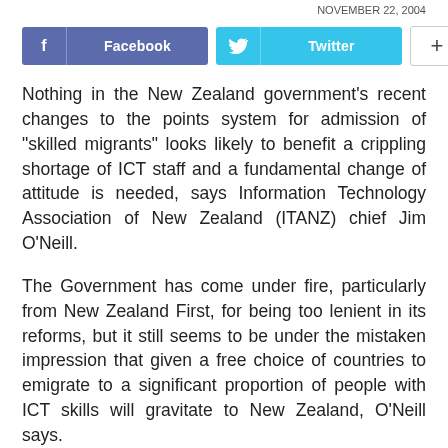NOVEMBER 22, 2004
[Figure (other): Social sharing buttons: Facebook, Twitter, and a plus/more button]
Nothing in the New Zealand government’s recent changes to the points system for admission of “skilled migrants” looks likely to benefit a crippling shortage of ICT staff and a fundamental change of attitude is needed, says Information Technology Association of New Zealand (ITANZ) chief Jim O’Neill.
The Government has come under fire, particularly from New Zealand First, for being too lenient in its reforms, but it still seems to be under the mistaken impression that given a free choice of countries to emigrate to a significant proportion of people with ICT skills will gravitate to New Zealand, O’Neill says.